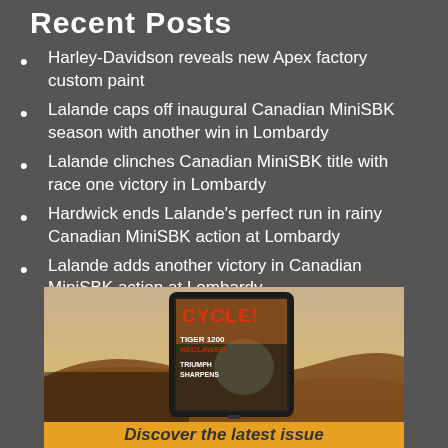Recent Posts
Harley-Davidson reveals new Apex factory custom paint
Lalande caps off inaugural Canadian MiniSBK season with another win in Lombardy
Lalande clinches Canadian MiniSBK title with race one victory in Lombardy
Hardwick ends Lalande's perfect run in rainy Canadian MiniSBK action at Lombardy
Lalande adds another victory in Canadian MiniSBK action at Lombardy
[Figure (photo): A tablet/device showing the cover of Cycle magazine with text 'CYCLE! TIGER 1200 RECLAWED TRIUMPH SHARPENS' over a blurred motorcycle desert scene background]
Discover the latest issue